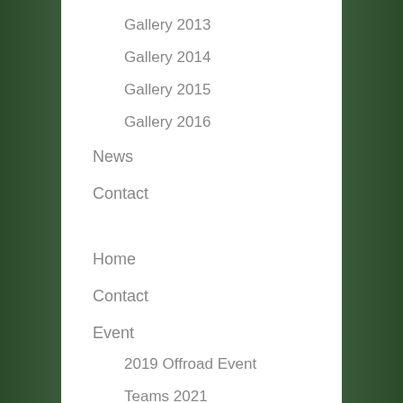Gallery 2013
Gallery 2014
Gallery 2015
Gallery 2016
News
Contact
Home
Contact
Event
2019 Offroad Event
Teams 2021
Event Archives
WXT 4×4
Event Registration
Rules & Regs 2022